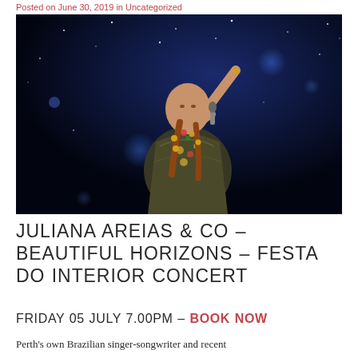Posted on June 30, 2019 in Uncategorized
[Figure (photo): Juliana Areias performing on stage, wearing a tropical patterned dress with floral decorations, holding a microphone with one arm raised, against a dark blue starry background with bokeh light effects.]
JULIANA AREIAS & CO – BEAUTIFUL HORIZONS – FESTA DO INTERIOR CONCERT
FRIDAY 05 JULY 7.00PM – BOOK NOW
Perth's own Brazilian singer-songwriter and recent